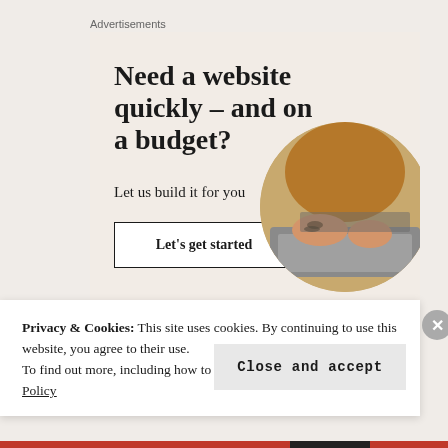Advertisements
[Figure (illustration): WordPress advertisement banner with headline 'Need a website quickly – and on a budget?', subtext 'Let us build it for you', a 'Let's get started' button, a circular photo of hands typing on a laptop, and a WordPress logo.]
Privacy & Cookies: This site uses cookies. By continuing to use this website, you agree to their use.
To find out more, including how to control cookies, see here: Cookie Policy
Close and accept